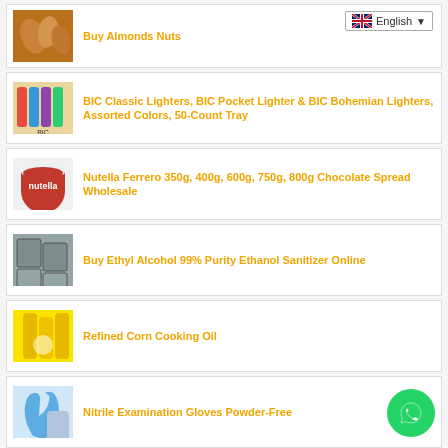Buy Almonds Nuts
BIC Classic Lighters, BIC Pocket Lighter & BIC Bohemian Lighters, Assorted Colors, 50-Count Tray
Nutella Ferrero 350g, 400g, 600g, 750g, 800g Chocolate Spread Wholesale
Buy Ethyl Alcohol 99% Purity Ethanol Sanitizer Online
Refined Corn Cooking Oil
Nitrile Examination Gloves Powder-Free